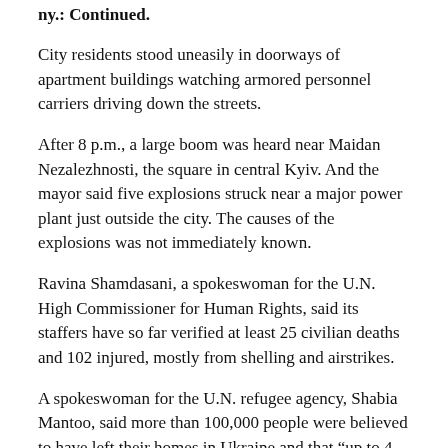ny.: Continued.
City residents stood uneasily in doorways of apartment buildings watching armored personnel carriers driving down the streets.
After 8 p.m., a large boom was heard near Maidan Nezalezhnosti, the square in central Kyiv. And the mayor said five explosions struck near a major power plant just outside the city. The causes of the explosions was not immediately known.
Ravina Shamdasani, a spokeswoman for the U.N. High Commissioner for Human Rights, said its staffers have so far verified at least 25 civilian deaths and 102 injured, mostly from shelling and airstrikes.
A spokeswoman for the U.N. refugee agency, Shabia Mantoo, said more than 100,000 people were believed to have left their homes in Ukraine and that “up to 4 million people may flee to other countries if the